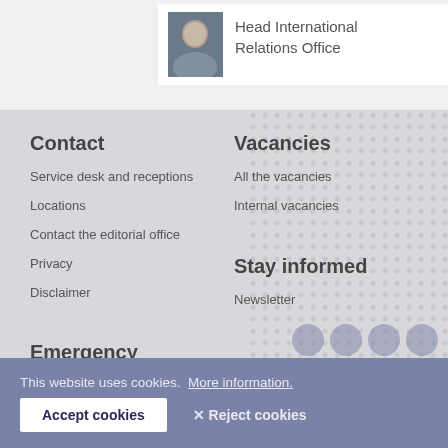Head International Relations Office
Contact
Service desk and receptions
Locations
Contact the editorial office
Privacy
Disclaimer
Vacancies
All the vacancies
Internal vacancies
Emergency
Alarm numbers
Reporting unsafe situations
Stay informed
Newsletter
This website uses cookies.  More information.
Accept cookies
✕ Reject cookies